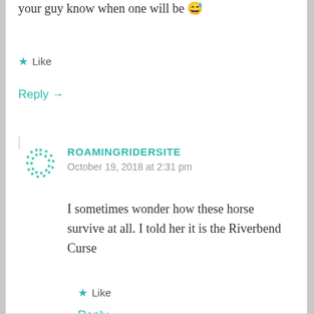your guy know when one will be 😅
★ Like
Reply →
ROAMINGRIDERSITE
October 19, 2018 at 2:31 pm
I sometimes wonder how these horse survive at all. I told her it is the Riverbend Curse
★ Like
Reply →